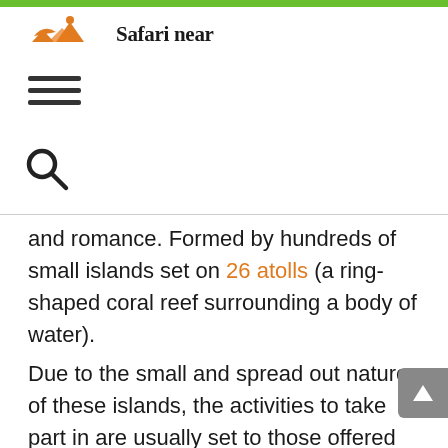[Figure (logo): Safari near logo with orange mountain/safari graphic and handwritten-style text 'Safari near']
[Figure (other): Hamburger menu icon (three horizontal bars)]
[Figure (other): Search magnifying glass icon]
and romance. Formed by hundreds of small islands set on 26 atolls (a ring-shaped coral reef surrounding a body of water).
Due to the small and spread out nature of these islands, the activities to take part in are usually set to those offered by your resort. The draw of this luxury